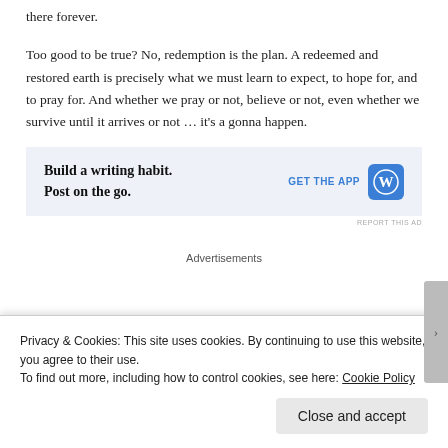there forever.
Too good to be true? No, redemption is the plan. A redeemed and restored earth is precisely what we must learn to expect, to hope for, and to pray for. And whether we pray or not, believe or not, even whether we survive until it arrives or not … it's a gonna happen.
[Figure (other): Advertisement banner: 'Build a writing habit. Post on the go.' with 'GET THE APP' CTA and WordPress logo]
Advertisements
Privacy & Cookies: This site uses cookies. By continuing to use this website, you agree to their use.
To find out more, including how to control cookies, see here: Cookie Policy